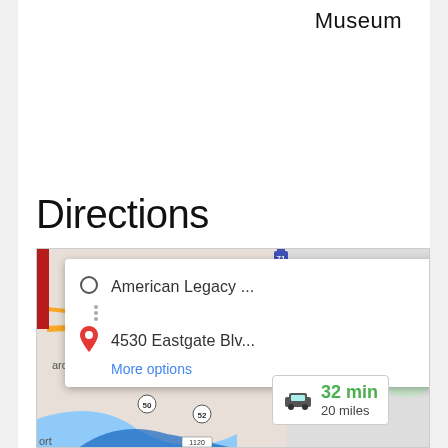Museum
Directions
[Figure (screenshot): Google Maps screenshot showing directions from American Legacy ... to 4530 Eastgate Blv... with a popup showing the two addresses, a 'More options' link, and a distance badge showing 32 min, 20 miles. The map shows the Norwood/Fairfax area with roads marked 42, 50, 52, 71, 1120.]